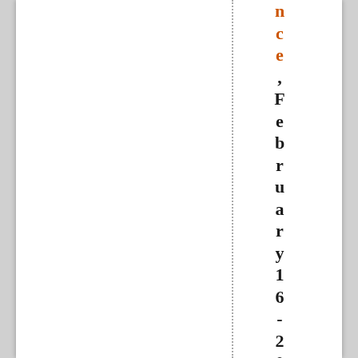nce , February 16 - 20 , 2005 , Re